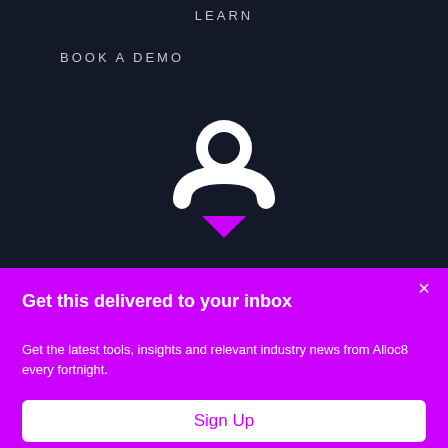LEARN
BOOK A DEMO
[Figure (logo): Alloc8 logo: white stylized person/user icon with a purple downward chevron below it on a dark navy background]
Get this delivered to your inbox
Get the latest tools, insights and relevant industry news from Alloc8 every fortnight.
Sign Up